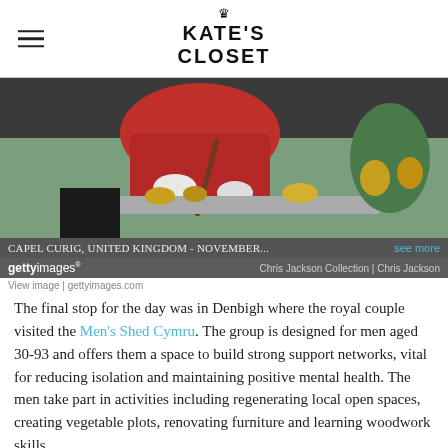KATE'S CLOSET
[Figure (photo): Person in red jacket working outdoors, gardening or planting, with gloves and a stick/tool. Getty Images photo with caption: CAPEL CURIG, UNITED KINGDOM - NOVEMBER... Chris Jackson Collection | Chris Jackson]
View image | gettyimages.com
The final stop for the day was in Denbigh where the royal couple visited the Men's Shed Cymru. The group is designed for men aged 30-93 and offers them a space to build strong support networks, vital for reducing isolation and maintaining positive mental health. The men take part in activities including regenerating local open spaces, creating vegetable plots, renovating furniture and learning woodwork skills.
[Figure (photo): Group of people laughing and conversing outdoors under a tent/awning. Includes older men and what appears to be a younger woman and man (possibly royals) smiling.]